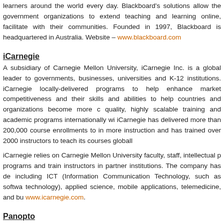learners around the world every day. Blackboard's solutions allow the government organizations to extend teaching and learning online, facilitate with their communities. Founded in 1997, Blackboard is headquartered in Australia. Website – www.blackboard.com
iCarnegie
A subsidiary of Carnegie Mellon University, iCarnegie Inc. is a global leader to governments, businesses, universities and K-12 institutions. iCarnegie locally-delivered programs to help enhance market competitiveness and their skills and abilities to help countries and organizations become more c quality, highly scalable training and academic programs internationally wi iCarnegie has delivered more than 200,000 course enrollments to in more instruction and has trained over 2000 instructors to teach its courses globall
iCarnegie relies on Carnegie Mellon University faculty, staff, intellectual p programs and train instructors in partner institutions. The company has de including ICT (Information Communication Technology, such as softwa technology), applied science, mobile applications, telemedicine, and bu www.icarnegie.com.
Panopto
Panopto is a software company that has developed a music video...